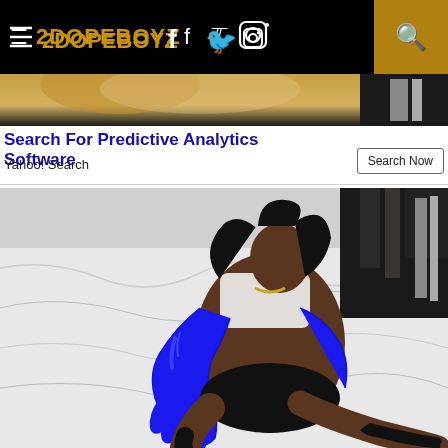2DOPEBOYZ — navigation bar with hamburger menu, logo, social icons (Facebook, Twitter, Instagram), and search button
[Figure (photo): Horizontal image strip showing partial view of a person, golden/brown tones]
Search For Predictive Analytics Software
Yahoo! Search
Search Now
[Figure (photo): A woman wearing a white crop top, blue latex gloves, black shorts, and black high-heeled boots, lying on white fabric/sheets with a dark background to the right]